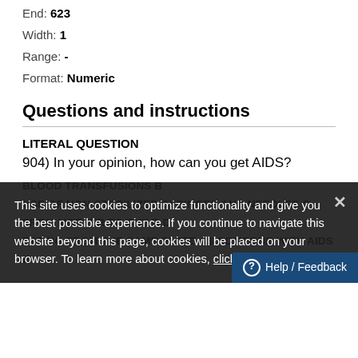End: 623
Width: 1
Range: -
Format: Numeric
Questions and instructions
LITERAL QUESTION
904) In your opinion, how can you get AIDS?
BLOOD TRANSFUSIONS B
USE OF NON-STERILIZED SYRINGES AND NEEDLES C
FROM MOTHER TO CHILD D
EATING FROM THE SAME PLATE AS SOMEONE WITH AIDS E